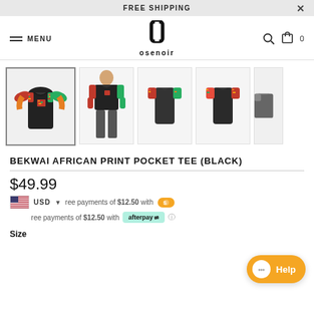FREE SHIPPING
[Figure (logo): Osenoir brand logo with stylized O and text osenoir]
[Figure (photo): Product image carousel showing 5 views of Bekwai African Print Pocket Tee in black: front flat lay, model wearing, back views, and partial side view]
BEKWAI AFRICAN PRINT POCKET TEE (BLACK)
$49.99
4 interest-free payments of $12.50 with Sezzle
4 interest-free payments of $12.50 with afterpay
Size